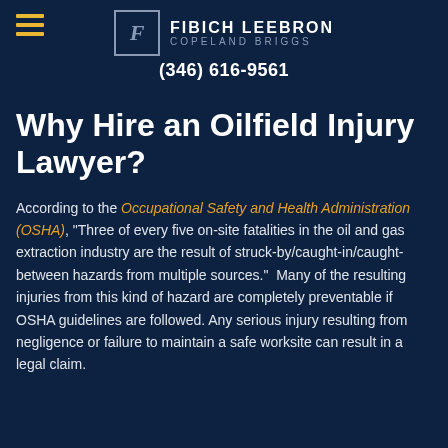FIBICH LEEBRON COPELAND BRIGGS (346) 616-9561
Why Hire an Oilfield Injury Lawyer?
According to the Occupational Safety and Health Administration (OSHA), “Three of every five on-site fatalities in the oil and gas extraction industry are the result of struck-by/caught-in/caught-between hazards from multiple sources.”  Many of the resulting injuries from this kind of hazard are completely preventable if OSHA guidelines are followed. Any serious injury resulting from negligence or failure to maintain a safe worksite can result in a legal claim.